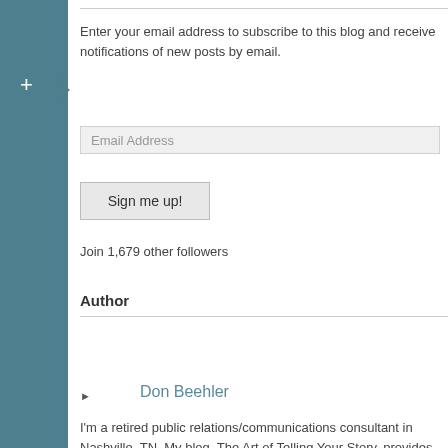Enter your email address to subscribe to this blog and receive notifications of new posts by email.
Email Address
Sign me up!
Join 1,679 other followers
Author
Don Beehler
I'm a retired public relations/communications consultant in Nashville, TN. My blog, The Art of Telling Your Story, provides PR tips, tactics, strategies and tools to help ad agencies and other businesses reach their communications objectives and